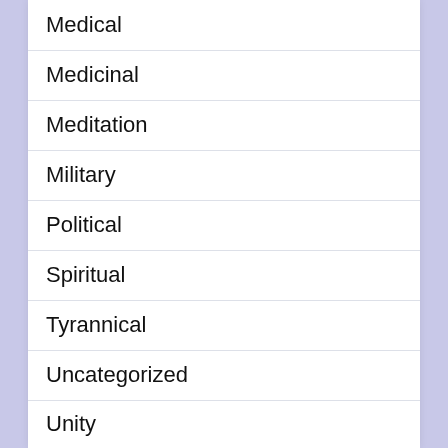Medical
Medicinal
Meditation
Military
Political
Spiritual
Tyrannical
Uncategorized
Unity